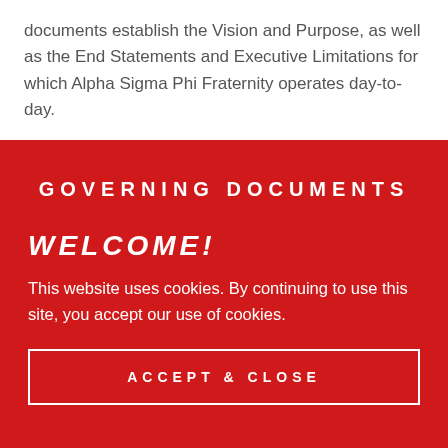documents establish the Vision and Purpose, as well as the End Statements and Executive Limitations for which Alpha Sigma Phi Fraternity operates day-to-day.
GOVERNING DOCUMENTS
WELCOME!
This website uses cookies. By continuing to use this site, you accept our use of cookies.
ACCEPT & CLOSE